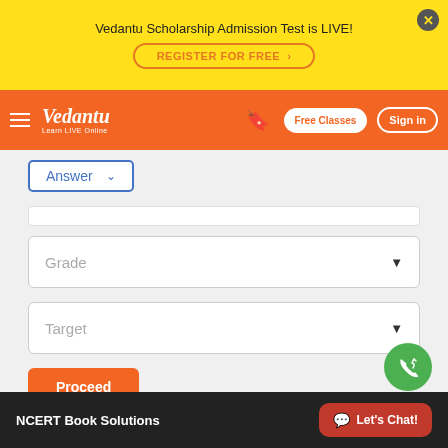Vedantu Scholarship Admission Test is LIVE! REGISTER FOR FREE >
[Figure (screenshot): Vedantu navigation bar with logo, hamburger menu, bookmark icon, Free Classes button, and Sign in button]
Answer
Grade
Target
Proceed
NCERT Book Solutions   Let's Chat!